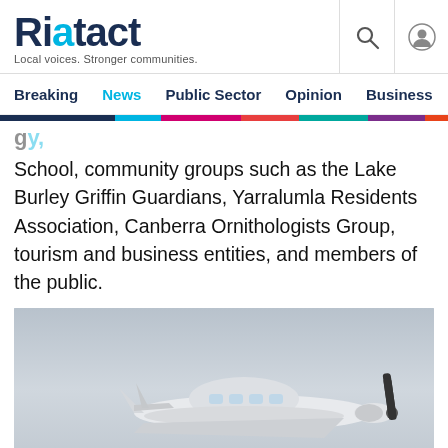Riatact – Local voices. Stronger communities.
Breaking | News | Public Sector | Opinion | Business | R…
School, community groups such as the Lake Burley Griffin Guardians, Yarralumla Residents Association, Canberra Ornithologists Group, tourism and business entities, and members of the public.
[Figure (photo): Close-up photograph of a small propeller aircraft (Cessna-style) on the ground, with overcast sky in the background.]